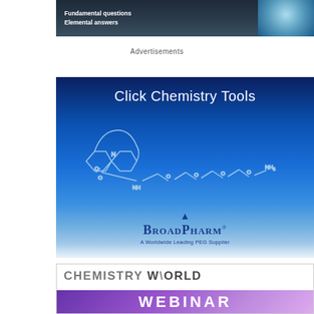[Figure (illustration): Top banner ad with dark background showing 'Fundamental questions / Elemental answers' text in white bold, with a circular molecule/science imagery on the right side]
Advertisements
[Figure (illustration): BroadPharm advertisement with blue gradient background, 'Click Chemistry Tools' in white text, a chemical structure diagram of DBCO-PEG4-amine molecule, a divider arrow, BroadPharm logo and 'A Worldwide Leading PEG Supplier' tagline]
[Figure (illustration): Chemistry World Webinar advertisement with gray 'CHEMISTRY WORLD' text and purple 'WEBINAR' banner at bottom]